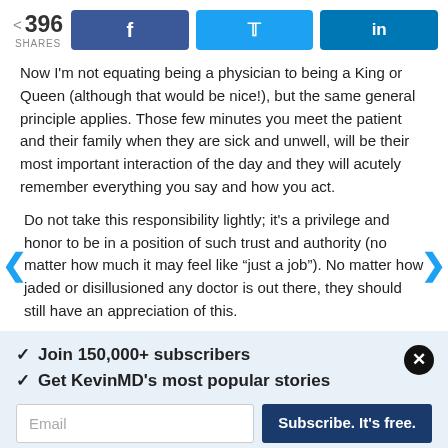396 SHARES [Facebook] [Twitter] [LinkedIn]
Now I'm not equating being a physician to being a King or Queen (although that would be nice!), but the same general principle applies. Those few minutes you meet the patient and their family when they are sick and unwell, will be their most important interaction of the day and they will acutely remember everything you say and how you act.
Do not take this responsibility lightly; it's a privilege and honor to be in a position of such trust and authority (no matter how much it may feel like “just a job”). No matter how jaded or disillusioned any doctor is out there, they should still have an appreciation of this.
✓ Join 150,000+ subscribers
✓ Get KevinMD's most popular stories
Email | Subscribe. It's free.